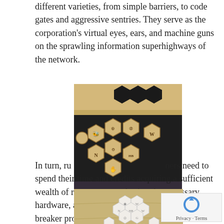different varieties, from simple barriers, to code gates and aggressive sentries. They serve as the corporation's virtual eyes, ears, and machine guns on the sprawling information superhighways of the network.
[Figure (photo): Photo of hexagonal wooden game tokens/tiles with symbols engraved on them, arranged on a dark surface. Some tiles are placed in a wooden board with hexagonal slots.]
In turn, runners need to spend their time and credits acquiring a sufficient wealth of resources, purchasing the necessary hardware, and developing suitably powerful ice-breaker programs to
[Figure (photo): Photo of white/cream colored hexagonal game tokens with symbols, arranged on a light wooden surface.]
Privacy · Terms